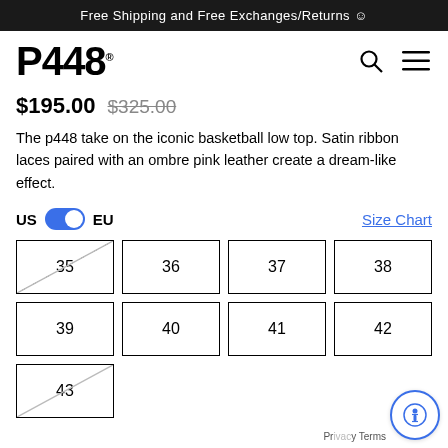Free Shipping and Free Exchanges/Returns ☺
P448.
$195.00  $325.00
The p448 take on the iconic basketball low top. Satin ribbon laces paired with an ombre pink leather create a dream-like effect.
US  EU  Size Chart
| 35 | 36 | 37 | 38 |
| 39 | 40 | 41 | 42 |
| 43 |